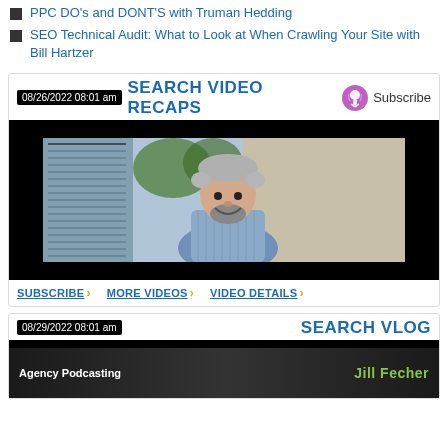PPC DO's and DONT'S with Truman Hedding
SEO Technical Audit: What to Look at When Crawling Your Site with Bill Hartzer
SEARCH VIDEO RECAPS
[Figure (photo): Video thumbnail showing a man with curly gray hair and beard, smiling, wearing a light blue checkered shirt, standing outside near a wall and glass window with trees visible. Video player with black bars top and bottom.]
SUBSCRIBE › MORE VIDEOS › VIDEO DETAILS ›
SEARCH VLOG
[Figure (photo): Video thumbnail showing text 'Agency Podcasting' in white on dark background and 'Jill Fecher' in bright green text.]